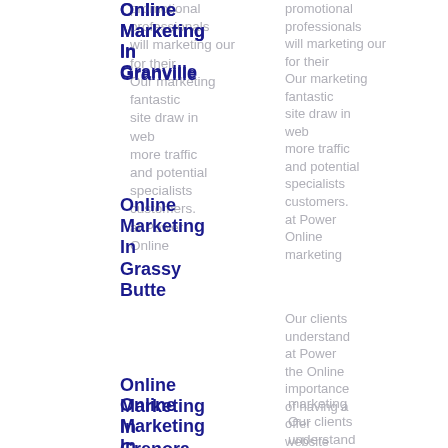Online Marketing In Granville
promotional professionals will marketing our for their Our marketing fantastic site draw in web more traffic and potential specialists customers. at Power Online marketing
Online Marketing In Grassy Butte
Online marketing Our clients understand at Power the Online importance of having a offer website outstanding that works. website
Online Marketing In Grenora